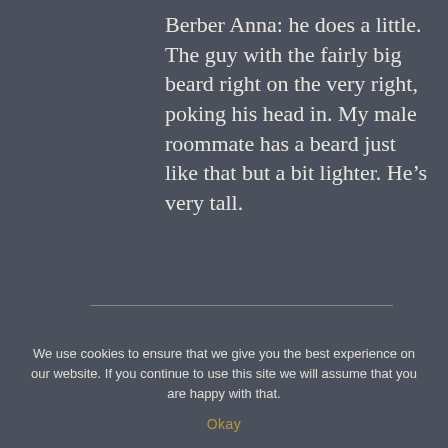Berber Anna: he does a little. The guy with the fairly big beard right on the very right, poking his head in. My male roommate has a beard just like that but a bit lighter. He’s very tall.
ReliegiousMarie
-- April ----
We use cookies to ensure that we give you the best experience on our website. If you continue to use this site we will assume that you are happy with that.
Okay